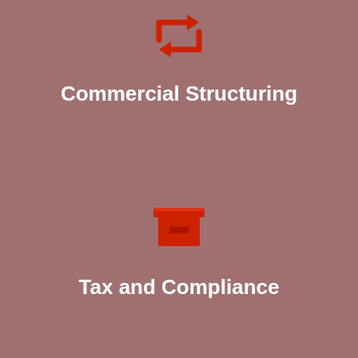[Figure (illustration): Red icon showing two arrows forming a cycle/exchange shape (left-up and right-down arrows), representing commercial structuring]
Commercial Structuring
[Figure (illustration): Red archive box icon with a lid and a small rectangle on the front, representing tax and compliance]
Tax and Compliance